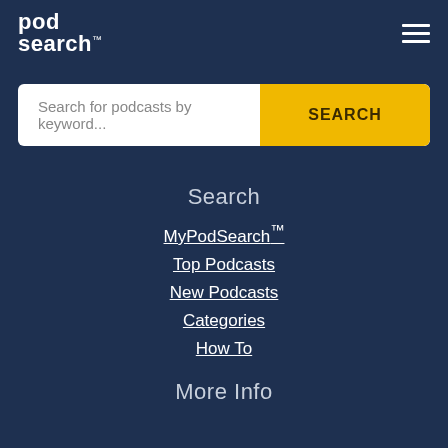pod search™
Search for podcasts by keyword... SEARCH
Search
MyPodSearch™
Top Podcasts
New Podcasts
Categories
How To
More Info